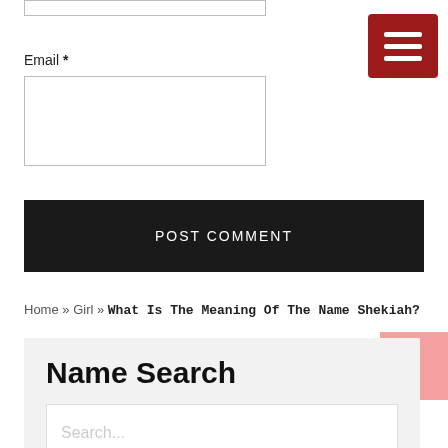Email *
POST COMMENT
Home » Girl » What Is The Meaning Of The Name Shekiah?
Name Search
Search...